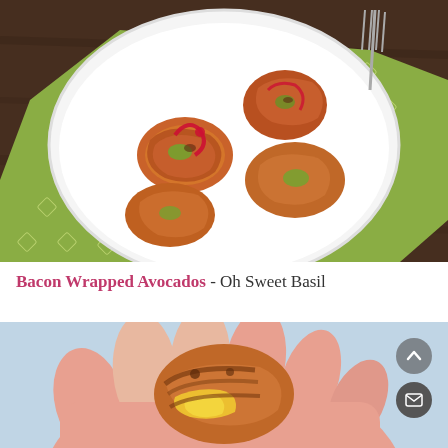[Figure (photo): Overhead photo of bacon wrapped avocado pieces on a white plate, placed on a green patterned cloth napkin on a dark wood table.]
Bacon Wrapped Avocados - Oh Sweet Basil
[Figure (photo): Close-up photo of a hand holding a bacon wrapped piece with melted cheese visible inside, on a light blue background.]